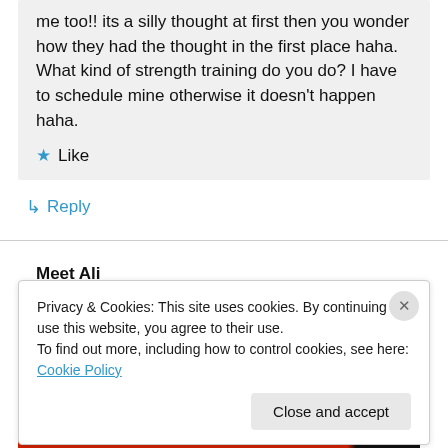me too!! its a silly thought at first then you wonder how they had the thought in the first place haha. What kind of strength training do you do? I have to schedule mine otherwise it doesn't happen haha.
★ Like
↳ Reply
Meet Ali
Privacy & Cookies: This site uses cookies. By continuing to use this website, you agree to their use.
To find out more, including how to control cookies, see here: Cookie Policy
Close and accept